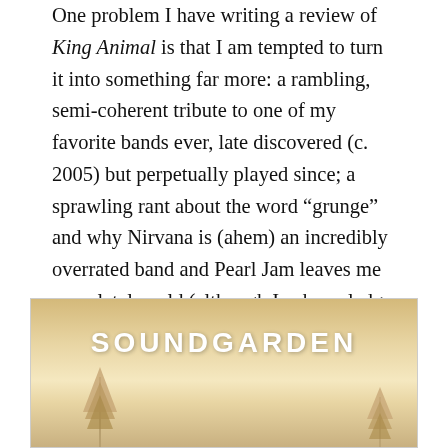One problem I have writing a review of King Animal is that I am tempted to turn it into something far more: a rambling, semi-coherent tribute to one of my favorite bands ever, late discovered (c. 2005) but perpetually played since; a sprawling rant about the word “grunge” and why Nirvana is (ahem) an incredibly overrated band and Pearl Jam leaves me completely cold (although I acknowledge that group’s abilities); a circling soliloquy about how Soundgarden—despite not being “prog”—has managed to do something that great prog bands do: create music that is restless, impossible
[Figure (illustration): Soundgarden King Animal album cover showing the word SOUNDGARDEN in large white bold letters at the top, with a warm golden/beige misty landscape and bare winter trees silhouetted at the bottom]